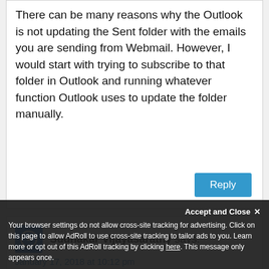There can be many reasons why the Outlook is not updating the Sent folder with the emails you are sending from Webmail. However, I would start with trying to subscribe to that folder in Outlook and running whatever function Outlook uses to update the folder manually.
Reply
Sudhakar Vijayasarathy says:
January 17, 2018 at 10:12 pm
Accept and Close
Your browser settings do not allow cross-site tracking for advertising. Click on this page to allow AdRoll to use cross-site tracking to tailor ads to you. Learn more or opt out of this AdRoll tracking by clicking here. This message only appears once.